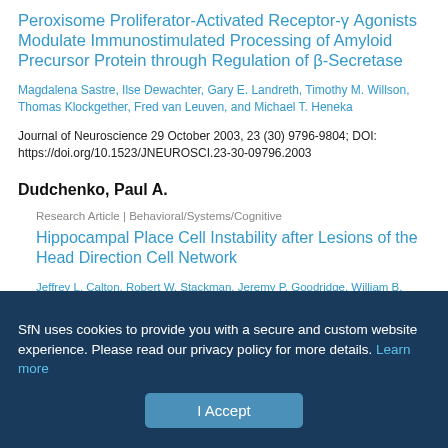Peroxisome Proliferator-Activated Receptor-γ Agonists Modulate Immunostimulated Processing of Amyloid Precursor Protein through Regulation of β-Secretase
Magdalena Sastre, Ilse Dewachter, Gary E. Landreth, Timothy M. Willson, Thomas Klockgether, Fred van Leuven, and Michael T. Heneka
Journal of Neuroscience 29 October 2003, 23 (30) 9796-9804; DOI: https://doi.org/10.1523/JNEUROSCI.23-30-09796.2003
Dudchenko, Paul A.
Research Article | Behavioral/Systems/Cognitive
Hippocampal Place Cell Instability after Lesions of the Head Direction Cell Network
Jeffrey L. Calton, Robert W. Stackman, Jeremy P. Goodridge, William B. Archey, Paul A. Dudchenko, and Jeffrey S. Taube
Journal of Neuroscience 29 October 2003, 23 (30) 9719-9731; DOI:
SfN uses cookies to provide you with a secure and custom website experience. Please read our privacy policy for more details. Learn more
I Accept